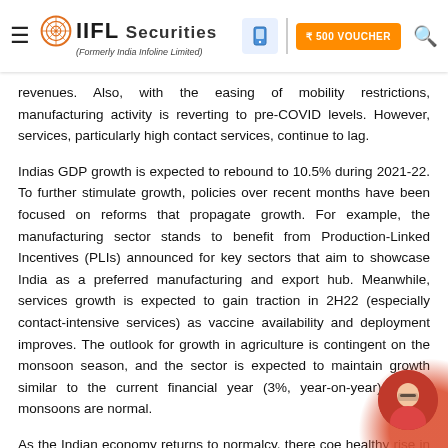IIFL Securities (Formerly India Infoline Limited)
revenues. Also, with the easing of mobility restrictions, manufacturing activity is reverting to pre-COVID levels. However, services, particularly high contact services, continue to lag.
Indias GDP growth is expected to rebound to 10.5% during 2021-22. To further stimulate growth, policies over recent months have been focused on reforms that propagate growth. For example, the manufacturing sector stands to bene t from Production-Linked Incentives (PLIs) announced for key sectors that aim to showcase India as a preferred manufacturing and export hub. Meanwhile, services growth is expected to gain traction in 2H22 (especially contact-intensive services) as vaccine availability and deployment improves. The outlook for growth in agriculture is contingent on the monsoon season, and the sector is expected to maintain growth similar to the current nancial year (3%, year-on-year), if the monsoons are normal.
As the Indian economy returns to normalcy, there co e healthy rise in tax collections as well as an uptick revenues arising from the disinvestment process. In this co